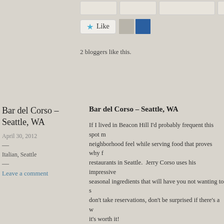[Figure (screenshot): Like button with star icon and two blogger avatars]
2 bloggers like this.
Bar del Corso – Seattle, WA
April 30, 2012
Italian, Seattle
Leave a comment
Bar del Corso – Seattle, WA
If I lived in Beacon Hill I'd probably frequent this spot m... neighborhood feel while serving food that proves why f... restaurants in Seattle. Jerry Corso uses his impressive... seasonal ingredients that will have you not wanting to s... don't take reservations, don't be surprised if there's a w... it's worth it!
I love octopus and tend to order it whenever I see it on... felt the peperonata overwhelmed the dish, not letting th... dish and sopping up the leftover sauce with bread was... great balance of sweet and acidity that made all the in... good! I'd love to go back and try all the others but I ha... fungi again it was so good:)